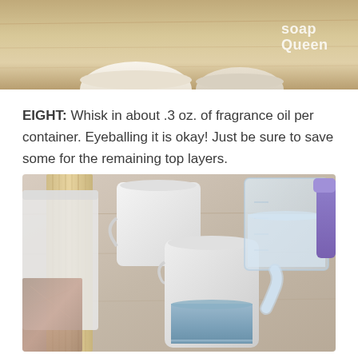[Figure (photo): Top portion of a photo showing two white bowls on a wooden surface with a Soap Queen watermark in the top right corner.]
EIGHT: Whisk in about .3 oz. of fragrance oil per container. Eyeballing it is okay! Just be sure to save some for the remaining top layers.
[Figure (photo): Photo of white plastic pitchers and a glass measuring cup pouring clear liquid into a pitcher containing blue liquid, on a wooden cutting board surface with a soap mold tray on the left and a purple gloved hand visible on the right.]